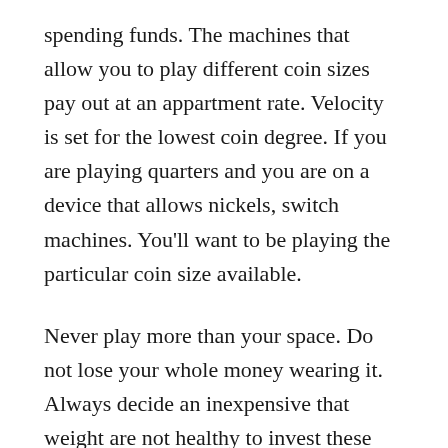spending funds. The machines that allow you to play different coin sizes pay out at an appartment rate. Velocity is set for the lowest coin degree. If you are playing quarters and you are on a device that allows nickels, switch machines. You’ll want to be playing the particular coin size available.
Never play more than your space. Do not lose your whole money wearing it. Always decide an inexpensive that weight are not healthy to invest these slot machine games. Stop playing, either you win or lose, if may spent the planned budget.
That is correct, took action now read that right. Now you can play online slots and also other casino games